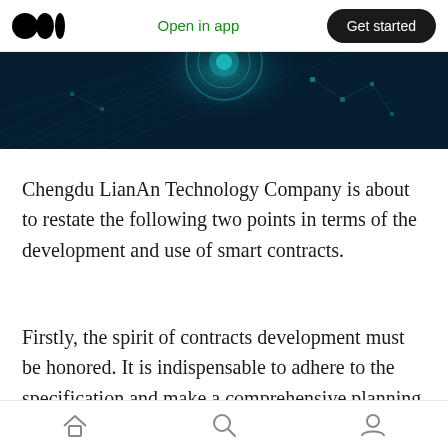Open in app  Get started
[Figure (photo): Dark teal/navy blockchain technology banner image with glowing circuit patterns and orb]
Chengdu LianAn Technology Company is about to restate the following two points in terms of the development and use of smart contracts.
Firstly, the spirit of contracts development must be honored. It is indispensable to adhere to the specification and make a comprehensive planning in successfully applying blockchain, thus the emerging technology can make a progress with a steadiness.
Home  Search  Profile